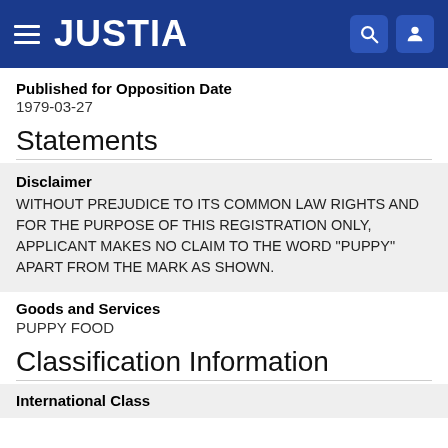JUSTIA
Published for Opposition Date
1979-03-27
Statements
Disclaimer
WITHOUT PREJUDICE TO ITS COMMON LAW RIGHTS AND FOR THE PURPOSE OF THIS REGISTRATION ONLY, APPLICANT MAKES NO CLAIM TO THE WORD "PUPPY" APART FROM THE MARK AS SHOWN.
Goods and Services
PUPPY FOOD
Classification Information
International Class